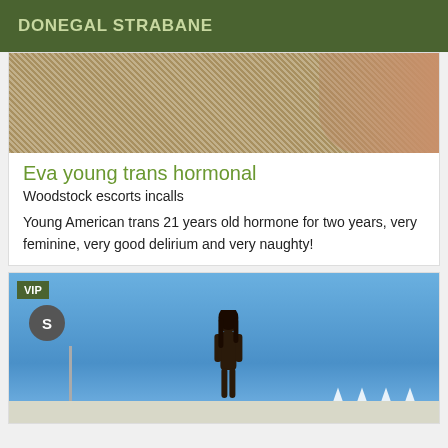DONEGAL STRABANE
[Figure (photo): Close-up photo of a textured woven carpet/rug surface, beige and tan tones, with a skin-toned object (arm or shoulder) partially visible on the right side.]
Eva young trans hormonal
Woodstock escorts incalls
Young American trans 21 years old hormone for two years, very feminine, very good delirium and very naughty!
[Figure (photo): Photo of a person with long dark hair and sunglasses standing outdoors against a clear blue sky, with white triangular sail-like structures in the background and a pole on the left. A VIP badge is shown in the top-left corner and a dark circular number badge next to it.]